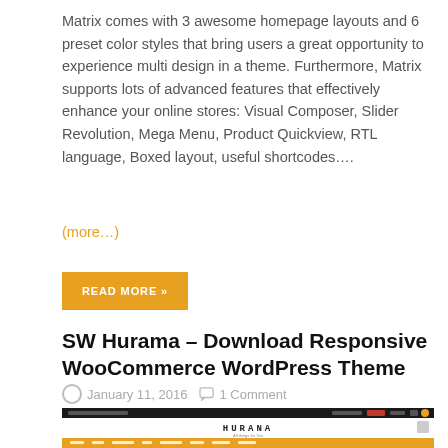Matrix comes with 3 awesome homepage layouts and 6 preset color styles that bring users a great opportunity to experience multi design in a theme. Furthermore, Matrix supports lots of advanced features that effectively enhance your online stores: Visual Composer, Slider Revolution, Mega Menu, Product Quickview, RTL language, Boxed layout, useful shortcodes….
(more…)
READ MORE »
SW Hurama – Download Responsive WooCommerce WordPress Theme
January 11, 2016   1 Comment
[Figure (screenshot): Screenshot of SW Hurama WooCommerce WordPress theme showing dark top navigation bar, Hurama logo, orange navigation menu, and a product/hero image area]